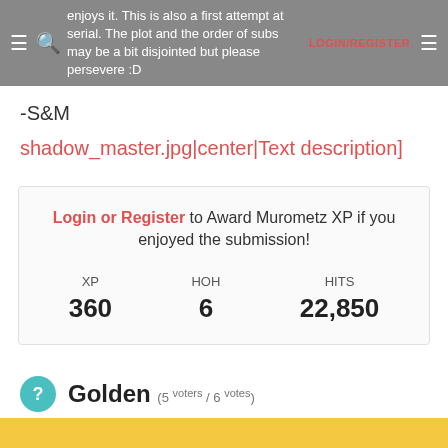enjoys it. This is also a first attempt at serial. The plot and the order of subs may be a bit disjointed but please persevere :D  LOGIN/REGISTER
-S&M
shadow_master.jpg|center|Text description]
Login or Register to Award Murometz XP if you enjoyed the submission!  XP 360  HOH 6  HITS 22,850
Golden (5 voters / 6 votes)